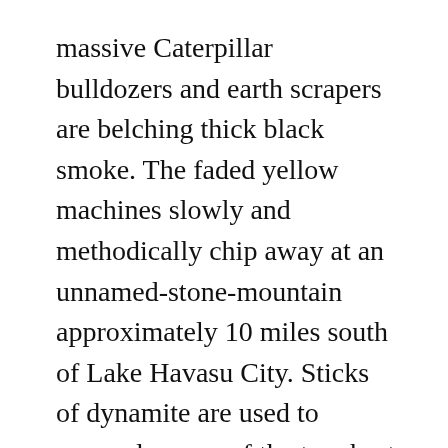massive Caterpillar bulldozers and earth scrapers are belching thick black smoke. The faded yellow machines slowly and methodically chip away at an unnamed-stone-mountain approximately 10 miles south of Lake Havasu City. Sticks of dynamite are used to persuade some of the toughest boulders to conform.
Political unrest sweeping the country some 2400 miles away does not dissuade renowned Arizona